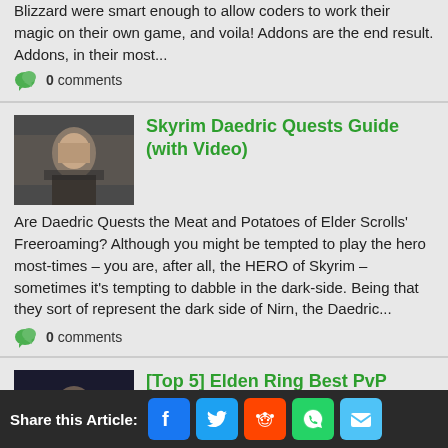Blizzard were smart enough to allow coders to work their magic on their own game, and voila! Addons are the end result. Addons, in their most...
0 comments
Skyrim Daedric Quests Guide (with Video)
[Figure (photo): Screenshot of a person in Skyrim game]
Are Daedric Quests the Meat and Potatoes of Elder Scrolls' Freeroaming? Although you might be tempted to play the hero most-times – you are, after all, the HERO of Skyrim – sometimes it's tempting to dabble in the dark-side. Being that they sort of represent the dark side of Nirn, the Daedric...
0 comments
[Top 5] Elden Ring Best PvP Shields That Are Excellent (And
[Figure (photo): Screenshot from Elden Ring game showing a character]
If only Torrent could have some better looking armor.
Share this Article: Facebook Twitter Reddit WhatsApp Email